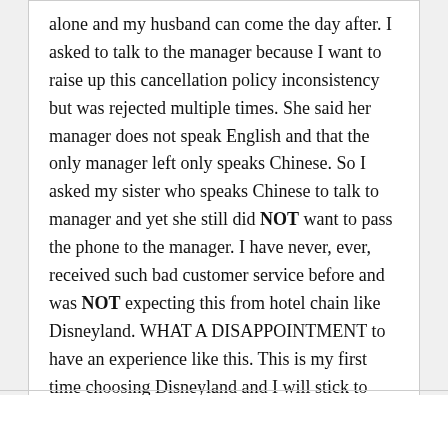alone and my husband can come the day after. I asked to talk to the manager because I want to raise up this cancellation policy inconsistency but was rejected multiple times. She said her manager does not speak English and that the only manager left only speaks Chinese. So I asked my sister who speaks Chinese to talk to manager and yet she still did NOT want to pass the phone to the manager. I have never, ever, received such bad customer service before and was NOT expecting this from hotel chain like Disneyland. WHAT A DISAPPOINTMENT to have an experience like this. This is my first time choosing Disneyland and I will stick to other hotel chains next time. Never again.
Reply